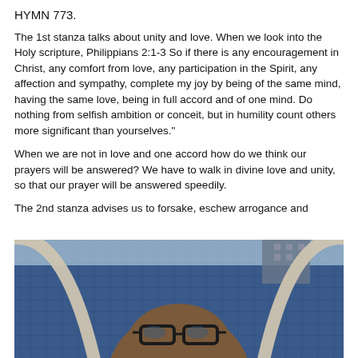HYMN 773.
The 1st stanza talks about unity and love. When we look into the Holy scripture, Philippians 2:1-3 So if there is any encouragement in Christ, any comfort from love, any participation in the Spirit, any affection and sympathy, complete my joy by being of the same mind, having the same love, being in full accord and of one mind. Do nothing from selfish ambition or conceit, but in humility count others more significant than yourselves."
When we are not in love and one accord how do we think our prayers will be answered? We have to walk in divine love and unity, so that our prayer will be answered speedily.
The 2nd stanza advises us to forsake, eschew arrogance and
[Figure (photo): A selfie of a man wearing glasses, photographed from below with an arch structure overhead and a blue tiled or gridded background (possibly a stadium or arena).]